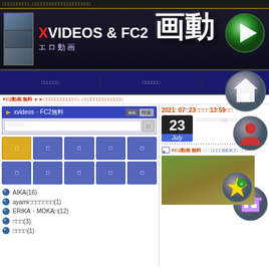XVIDEOS & FC2 エロ動画
xvideos・FC2検索
FC2のトップ
AIKA(16)
ayami（1)
ERIKA・MOKA（12)
（3)
（1)
2021年07月23日（金）13:59更新
23 July
FC2動画 無料 - SEX動画